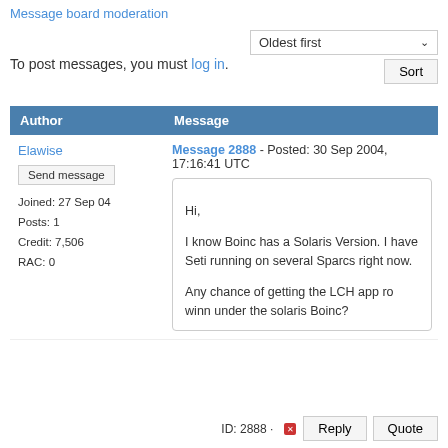Message board moderation
To post messages, you must log in.
| Author | Message |
| --- | --- |
| Elawise
Send message
Joined: 27 Sep 04
Posts: 1
Credit: 7,506
RAC: 0 | Message 2888 - Posted: 30 Sep 2004, 17:16:41 UTC

Hi,

I know Boinc has a Solaris Version. I have Seti running on several Sparcs right now.

Any chance of getting the LCH app ro winn under the solaris Boinc? |
ID: 2888 · Reply Quote